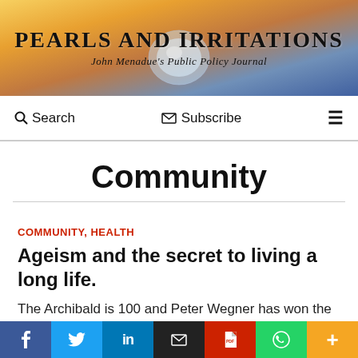[Figure (illustration): Pearls and Irritations website header banner with gradient sunset/ocean background and pearl shell illustration in center]
PEARLS AND IRRITATIONS
John Menadue's Public Policy Journal
Search   Subscribe   ≡
Community
COMMUNITY, HEALTH
Ageism and the secret to living a long life.
The Archibald is 100 and Peter Wegner has won the 2021 prize for his portrait of 100-year-old artist Guy
[Figure (infographic): Social sharing bar with buttons: Facebook (blue), Twitter (light blue), LinkedIn (dark blue), Email (black), PDF (red), WhatsApp (green), More (orange)]